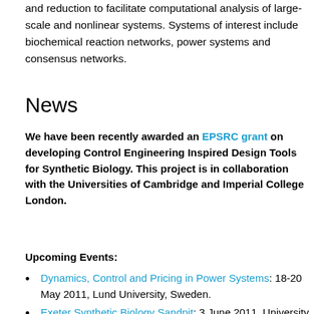and reduction to facilitate computational analysis of large-scale and nonlinear systems. Systems of interest include biochemical reaction networks, power systems and consensus networks.
News
We have been recently awarded an EPSRC grant on developing Control Engineering Inspired Design Tools for Synthetic Biology. This project is in collaboration with the Universities of Cambridge and Imperial College London.
Upcoming Events:
Dynamics, Control and Pricing in Power Systems: 18-20 May 2011, Lund University, Sweden.
Exeter Synthetic Biology Sandpit: 3 June 2011, University of Exeter, UK.
Third RoSBNet Workshop: 20-22 July 2011, St Annes'